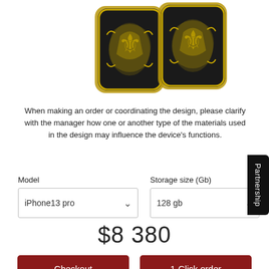[Figure (photo): Two ornate gold and black decorative phone cases with intricate baroque floral engraving patterns, shown from above on white background.]
When making an order or coordinating the design, please clarify with the manager how one or another type of the materials used in the design may influence the device's functions.
Model
iPhone13 pro
Storage size (Gb)
128 gb
$8 380
Checkout
1-Click order
Order for iPhone 14
WhatsApp
Partnership